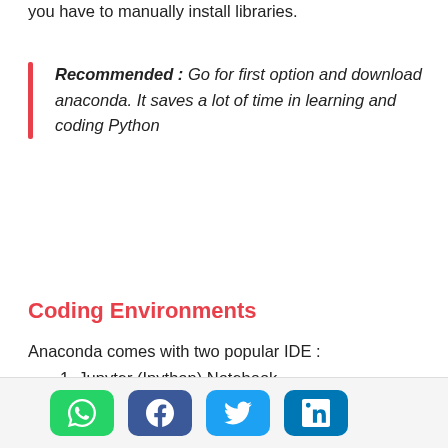you have to manually install libraries.
Recommended : Go for first option and download anaconda. It saves a lot of time in learning and coding Python
Coding Environments
Anaconda comes with two popular IDE :
1. Jupyter (Ipython) Notebook
2. Spyder
Spyder. It is like RStudio for Python. It gives an on code is user- can think of it